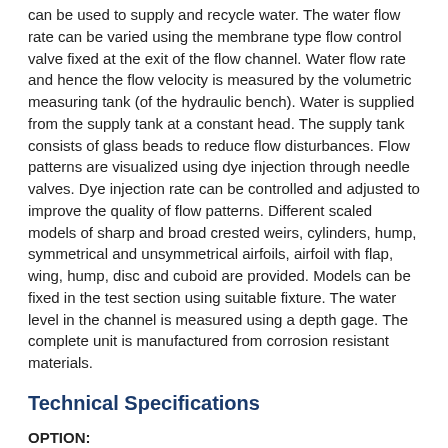can be used to supply and recycle water. The water flow rate can be varied using the membrane type flow control valve fixed at the exit of the flow channel. Water flow rate and hence the flow velocity is measured by the volumetric measuring tank (of the hydraulic bench). Water is supplied from the supply tank at a constant head. The supply tank consists of glass beads to reduce flow disturbances. Flow patterns are visualized using dye injection through needle valves. Dye injection rate can be controlled and adjusted to improve the quality of flow patterns. Different scaled models of sharp and broad crested weirs, cylinders, hump, symmetrical and unsymmetrical airfoils, airfoil with flap, wing, hump, disc and cuboid are provided. Models can be fixed in the test section using suitable fixture. The water level in the channel is measured using a depth gage. The complete unit is manufactured from corrosion resistant materials.
Technical Specifications
OPTION:
Computer based learning software is included to enable